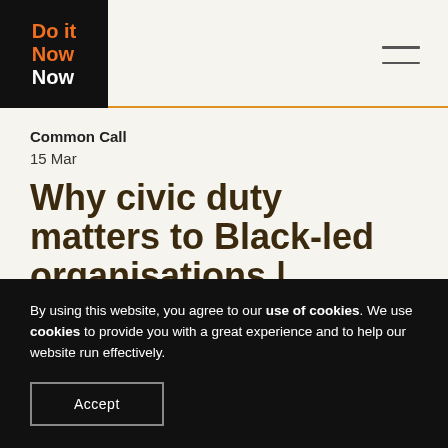[Figure (logo): Do it Now Now logo — white text on black background with orange accent]
Common Call
15 Mar
Why civic duty matters to Black-led organisations | Common
By using this website, you agree to our use of cookies. We use cookies to provide you with a great experience and to help our website run effectively.
Accept